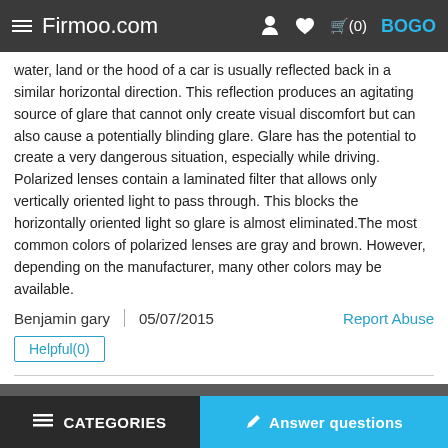Firmoo.com
water, land or the hood of a car is usually reflected back in a similar horizontal direction. This reflection produces an agitating source of glare that cannot only create visual discomfort but can also cause a potentially blinding glare. Glare has the potential to create a very dangerous situation, especially while driving. Polarized lenses contain a laminated filter that allows only vertically oriented light to pass through. This blocks the horizontally oriented light so glare is almost eliminated.The most common colors of polarized lenses are gray and brown. However, depending on the manufacturer, many other colors may be available.
Benjamin gary | 05/07/2015   Report Abuse
Helpful(0)
Related questions:
What is the effect of alcohol on the eye?
CATEGORIES   Answer questions